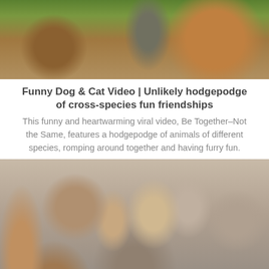[Figure (photo): Photo of animals of different species outdoors, showing fur and natural environment with green foliage]
Funny Dog & Cat Video | Unlikely hodgepodge of cross-species fun friendships
This funny and heartwarming viral video, Be Together–Not the Same, features a hodgepodge of animals of different species, romping around together and having furry fun.
[Figure (photo): Photo of a group of people socializing at an indoor event or gathering, smiling and talking, dressed in business casual attire]